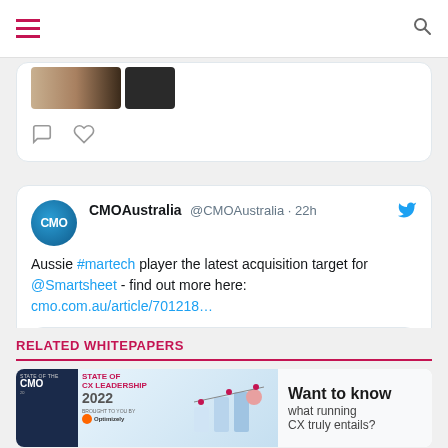Navigation bar with hamburger menu and search icon
[Figure (screenshot): Partial tweet card with image strip and action icons (comment, like)]
CMOAustralia @CMOAustralia · 22h
Aussie #martech player the latest acquisition target for @Smartsheet - find out more here: cmo.com.au/article/701218…
[Figure (screenshot): Link preview card showing cmo.com.au with newspaper clipping image and text 'Aussie martech platform gets acquired by Smartsheet']
RELATED WHITEPAPERS
[Figure (screenshot): Whitepaper banner: State of CX Leadership 2022, CMO, brought to you by Optimizely. Want to know what running CX truly entails?]